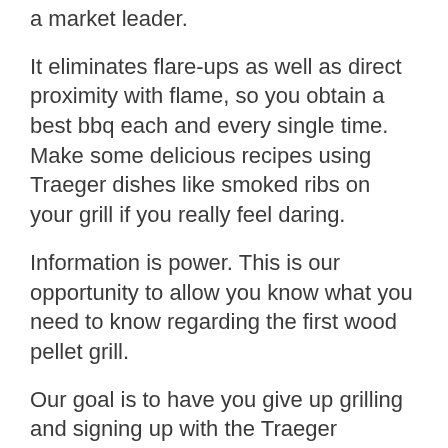a market leader.
It eliminates flare-ups as well as direct proximity with flame, so you obtain a best bbq each and every single time. Make some delicious recipes using Traeger dishes like smoked ribs on your grill if you really feel daring.
Information is power. This is our opportunity to allow you know what you need to know regarding the first wood pellet grill.
Our goal is to have you give up grilling and signing up with the Traeger Country as soon as you've completed reading this web page.
> Click Here For Best Traeger Grill Deals <